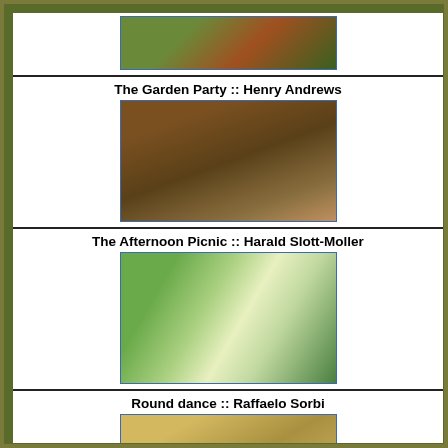[Figure (photo): Painting - cropped top, appears to show cattle or animals in a green landscape]
The Garden Party :: Henry Andrews
[Figure (photo): The Garden Party by Henry Andrews - a garden scene with trees and figures]
The Afternoon Picnic :: Harald Slott-Moller
[Figure (photo): The Afternoon Picnic by Harald Slott-Moller - outdoor scene with women in white dresses at a picnic]
Round dance :: Raffaelo Sorbi
[Figure (photo): Round dance by Raffaelo Sorbi - figures in colorful dresses dancing outdoors]
Morra (game) :: Raffaelo Sorbi
[Figure (photo): Morra (game) by Raffaelo Sorbi - outdoor scene with figures near a building]